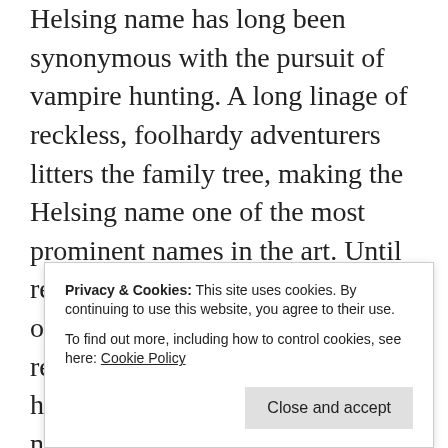Helsing name has long been synonymous with the pursuit of vampire hunting. A long linage of reckless, foolhardy adventurers litters the family tree, making the Helsing name one of the most prominent names in the art. Until recently, this tradition was carried on by Chad Helsing. But, with his recent death, the duty falls onto his younger brother Ham. Not nearly as enthusiastic about the pursuit, he nonetheless answers a besieged town's cry for help.
It has been said that there is a fine line between brave and just be making a good point. The Helsing family seems
Privacy & Cookies: This site uses cookies. By continuing to use this website, you agree to their use. To find out more, including how to control cookies, see here: Cookie Policy
Close and accept